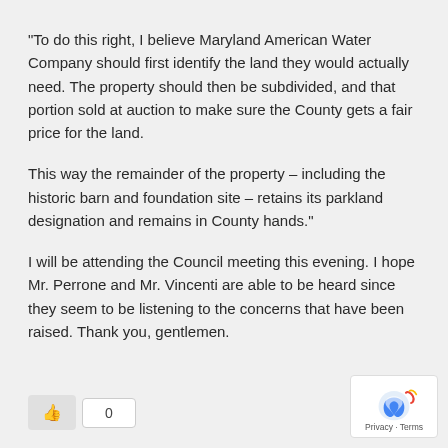“To do this right, I believe Maryland American Water Company should first identify the land they would actually need. The property should then be subdivided, and that portion sold at auction to make sure the County gets a fair price for the land.
This way the remainder of the property – including the historic barn and foundation site – retains its parkland designation and remains in County hands.”
I will be attending the Council meeting this evening. I hope Mr. Perrone and Mr. Vincenti are able to be heard since they seem to be listening to the concerns that have been raised. Thank you, gentlemen.
[Figure (other): Like button with thumbs-up icon and count of 0, plus reCAPTCHA privacy badge]